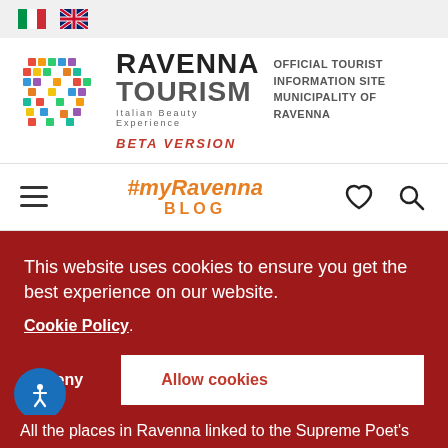[Figure (logo): Italian and UK flag icons for language selection]
[Figure (logo): Ravenna Tourism logo with mosaic-style icon, text RAVENNA TOURISM Italian Beauty Experience, OFFICIAL TOURIST INFORMATION SITE MUNICIPALITY OF RAVENNA, BETA VERSION]
#myRavenna BLOG
This website uses cookies to ensure you get the best experience on our website. Cookie Policy.
Deny   Allow cookies
All the places in Ravenna linked to the Supreme Poet's